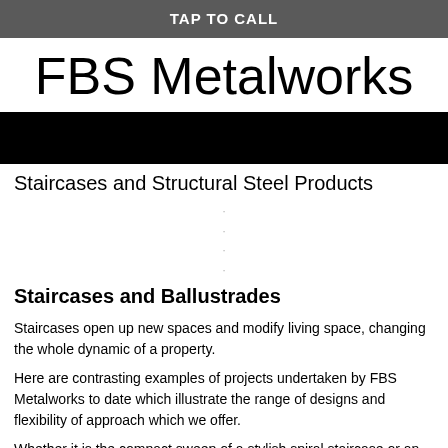TAP TO CALL
FBS Metalworks
[Figure (photo): Black banner image bar]
Staircases and Structural Steel Products
Staircases and Ballustrades
Staircases open up new spaces and modify living space, changing the whole dynamic of a property.
Here are contrasting examples of projects undertaken by FBS Metalworks to date which illustrate the range of designs and flexibility of approach which we offer.
Whether it is the compact sweep of a stylish spiral staircase or an eye-catching contemporary stair such as that chosen to front a Scotland on Sunday homes magazine, we will work to devise, create and install the solution you need.